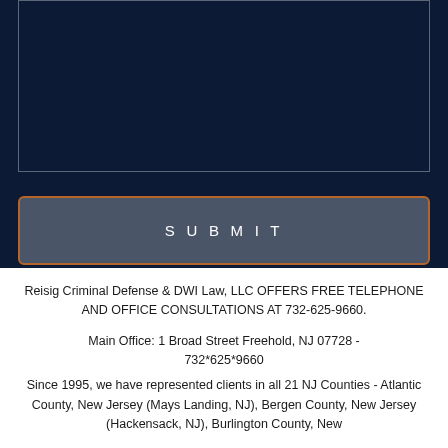[Figure (screenshot): Dark navy blue textarea input field with white border outline at top of page]
SUBMIT
Reisig Criminal Defense & DWI Law, LLC OFFERS FREE TELEPHONE AND OFFICE CONSULTATIONS AT 732-625-9660.
Main Office: 1 Broad Street Freehold, NJ 07728 - 732*625*9660
Since 1995, we have represented clients in all 21 NJ Counties - Atlantic County, New Jersey (Mays Landing, NJ), Bergen County, New Jersey (Hackensack, NJ), Burlington County, New